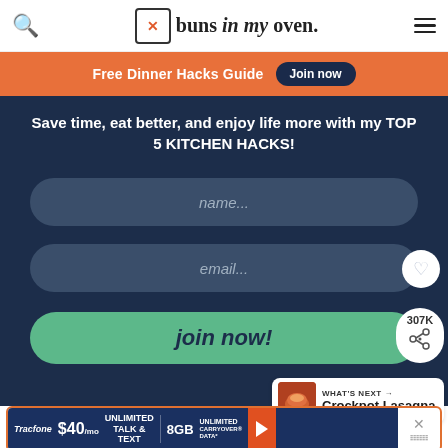buns in my oven
Free Dinner Hacks Guide  Join now
Save time, eat better, and enjoy life more with my TOP 5 KITCHEN HACKS!
name...
email...
join now!
307K
WHAT'S NEXT → Crockpot Lasagna
[Figure (screenshot): Tracfone advertisement banner: $40/mo Unlimited Talk & Text, 8GB Unlimited Carryover Data]